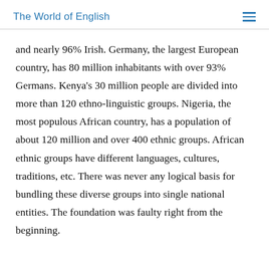The World of English
and nearly 96% Irish. Germany, the largest European country, has 80 million inhabitants with over 93% Germans. Kenya’s 30 million people are divided into more than 120 ethno-linguistic groups. Nigeria, the most populous African country, has a population of about 120 million and over 400 ethnic groups. African ethnic groups have different languages, cultures, traditions, etc. There was never any logical basis for bundling these diverse groups into single national entities. The foundation was faulty right from the beginning.